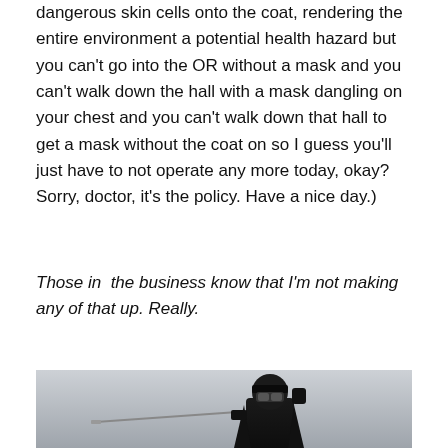dangerous skin cells onto the coat, rendering the entire environment a potential health hazard but you can't go into the OR without a mask and you can't walk down the hall with a mask dangling on your chest and you can't walk down that hall to get a mask without the coat on so I guess you'll just have to not operate any more today, okay? Sorry, doctor, it's the policy. Have a nice day.)
Those in the business know that I'm not making any of that up. Really.
[Figure (photo): A person dressed in all black with a black headband and reflective mask/goggles, holding a sword or fencing weapon, posed against a grey background. Styled like a dramatic masked swordsman or Zorro-type character.]